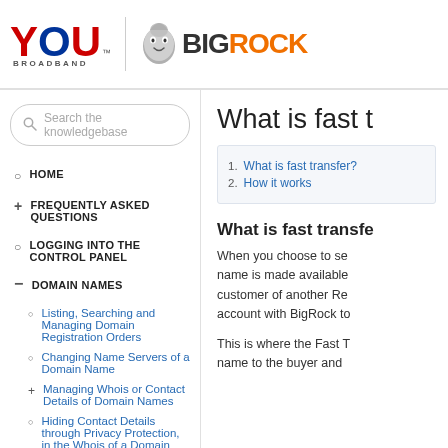YOU BROADBAND | BIGROCK
[Figure (logo): YOU Broadband and BigRock combined logo header]
Search the knowledgebase
HOME
FREQUENTLY ASKED QUESTIONS
LOGGING INTO THE CONTROL PANEL
DOMAIN NAMES
Listing, Searching and Managing Domain Registration Orders
Changing Name Servers of a Domain Name
Managing Whois or Contact Details of Domain Names
Hiding Contact Details through Privacy Protection, in the Whois of a Domain
What is fast t
1. What is fast transfer?
2. How it works
What is fast transfe
When you choose to se name is made available customer of another Re account with BigRock to
This is where the Fast T name to the buyer and